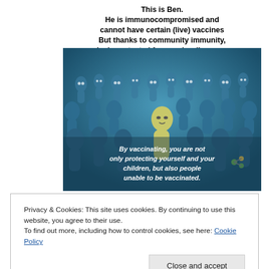[Figure (infographic): Infographic showing Ben, an immunocompromised person (yellow figure) surrounded by a crowd of blue vaccinated figures, with text about community immunity and vaccination protecting others unable to be vaccinated.]
Privacy & Cookies: This site uses cookies. By continuing to use this website, you agree to their use.
To find out more, including how to control cookies, see here: Cookie Policy
Close and accept